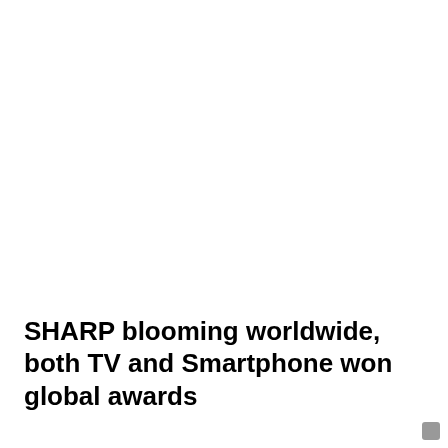SHARP blooming worldwide, both TV and Smartphone won global awards